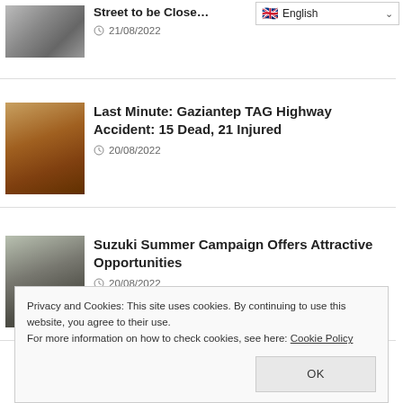[Figure (screenshot): Language selector dropdown showing English with UK flag]
[Figure (photo): Thumbnail image of a street/road scene with cars]
Street to be Close…
21/08/2022
[Figure (photo): Thumbnail image of highway accident scene with emergency vehicles]
Last Minute: Gaziantep TAG Highway Accident: 15 Dead, 21 Injured
20/08/2022
[Figure (photo): Thumbnail image of a Suzuki SUV car on a road]
Suzuki Summer Campaign Offers Attractive Opportunities
20/08/2022
Privacy and Cookies: This site uses cookies. By continuing to use this website, you agree to their use.
For more information on how to check cookies, see here: Cookie Policy